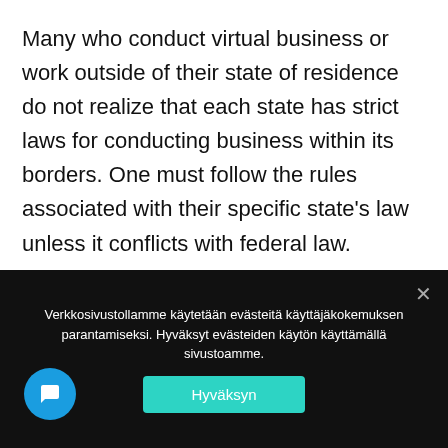Many who conduct virtual business or work outside of their state of residence do not realize that each state has strict laws for conducting business within its borders. One must follow the rules associated with their specific state's law unless it conflicts with federal law.
For example, if you are an Arizona resident but conduct your business out of Texas, the rules will be different for both states.
Verkkosivustollamme käytetään evästeitä käyttäjäkokemuksen parantamiseksi. Hyväksyt evästeiden käytön käyttämällä sivustoamme.